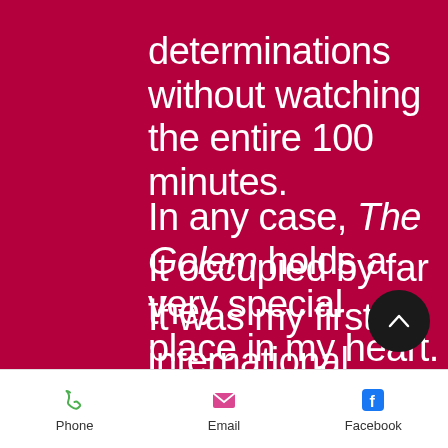determinations without watching the entire 100 minutes.
In any case, The Golem holds a very special place in my heart.
It was my first international production.
It occupied by far the
Phone   Email   Facebook